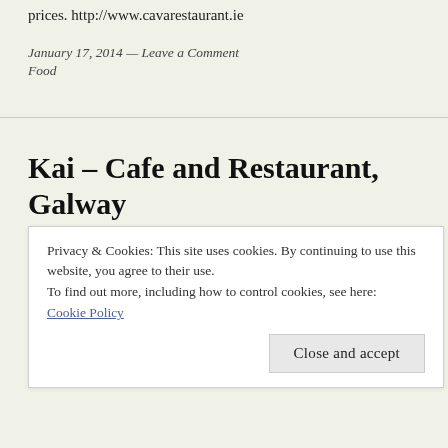prices. http://www.cavarestaurant.ie
January 17, 2014 — Leave a Comment
Food
Kai – Cafe and Restaurant, Galway
Privacy & Cookies: This site uses cookies. By continuing to use this website, you agree to their use. To find out more, including how to control cookies, see here: Cookie Policy
Close and accept
three times since it opened and each time the